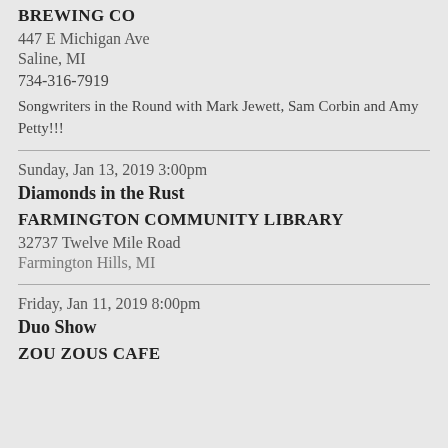BREWING CO
447 E Michigan Ave
Saline, MI
734-316-7919
Songwriters in the Round with Mark Jewett, Sam Corbin and Amy Petty!!!
Sunday, Jan 13, 2019 3:00pm
Diamonds in the Rust
FARMINGTON COMMUNITY LIBRARY
32737 Twelve Mile Road
Farmington Hills, MI
Friday, Jan 11, 2019 8:00pm
Duo Show
ZOU ZOUS CAFE